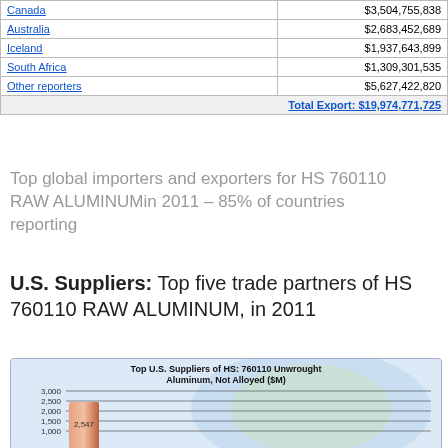| Country | Value |
| --- | --- |
| Canada | $3,504,755,838 |
| Australia | $2,683,452,689 |
| Iceland | $1,937,643,899 |
| South Africa | $1,309,301,535 |
| Other reporters | $5,627,422,820 |
Top global importers and exporters for HS 760110 RAW ALUMINUMin 2011 – 85% of countries reporting
U.S. Suppliers: Top five trade partners of HS 760110 RAW ALUMINUM, in 2011
[Figure (bar-chart): Top U.S. Suppliers of HS: 760110 Unwrought Aluminum, Not Alloyed ($M)]